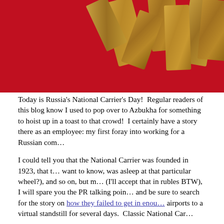[Figure (photo): Photo of wooden puzzle or block pieces arranged on a red background, partially visible at top of page]
Today is Russia's National Carrier's Day!  Regular readers of this blog know I used to pop over to Azbukha for something to hoist up in a toast to that crowd!  I certainly have a story there as an employee: my first foray into working for a Russian company.
I could tell you that the National Carrier was founded in 1923, that they (whoever you want to know, was asleep at that particular wheel?), and so on, but no. For a small fee (I'll accept that in rubles BTW), I will spare you the PR talking points. Instead, go and be sure to search for the story on how they failed to get in enough de-icing fluid to bring airports to a virtual standstill for several days.  Classic National Carrier.
What I thought I would do instead, then, is celebrate the day by providing some advice to expats considering a career with a Russian company.  In troubled times, you may get a call from a headhunter, promising a "really huge salary" and "shares" or the management team. It's all very nice, but here are some helpful hints on what to look out for during the interview process. I call this "The Red Handshake."